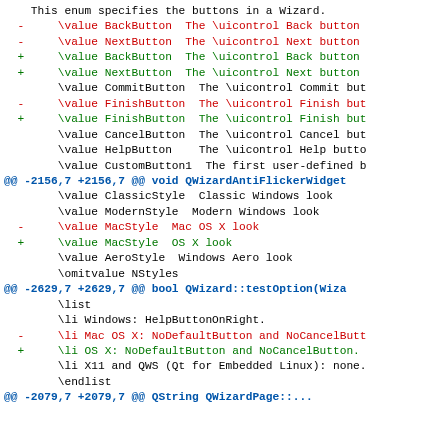This enum specifies the buttons in a Wizard.
- \value BackButton  The \uicontrol Back button (red)
- \value NextButton  The \uicontrol Next button (red)
+ \value BackButton  The \uicontrol Back button (green)
+ \value NextButton  The \uicontrol Next button (green)
\value CommitButton  The \uicontrol Commit but
- \value FinishButton  The \uicontrol Finish but (red)
+ \value FinishButton  The \uicontrol Finish but (green)
\value CancelButton  The \uicontrol Cancel but
\value HelpButton    The \uicontrol Help butto
\value CustomButton1  The first user-defined b
@@ -2156,7 +2156,7 @@ void QWizardAntiFlickerWidget
\value ClassicStyle  Classic Windows look
\value ModernStyle  Modern Windows look
- \value MacStyle  Mac OS X look (red)
+ \value MacStyle  OS X look (green)
\value AeroStyle  Windows Aero look
\omitvalue NStyles
@@ -2629,7 +2629,7 @@ bool QWizard::testOption(Wiza
\list
\li Windows: HelpButtonOnRight.
- \li Mac OS X: NoDefaultButton and NoCancelButt (red)
+ \li OS X: NoDefaultButton and NoCancelButton. (green)
\li X11 and QWS (Qt for Embedded Linux): none.
\endlist
@@ -2079,7 +2079,7 @@ QString QWizardPage::...